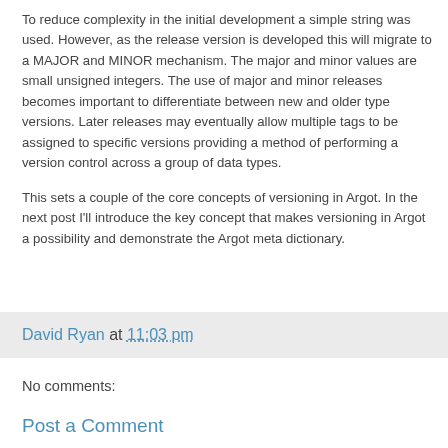To reduce complexity in the initial development a simple string was used. However, as the release version is developed this will migrate to a MAJOR and MINOR mechanism. The major and minor values are small unsigned integers. The use of major and minor releases becomes important to differentiate between new and older type versions. Later releases may eventually allow multiple tags to be assigned to specific versions providing a method of performing a version control across a group of data types.
This sets a couple of the core concepts of versioning in Argot. In the next post I'll introduce the key concept that makes versioning in Argot a possibility and demonstrate the Argot meta dictionary.
David Ryan at 11:03 pm
No comments:
Post a Comment